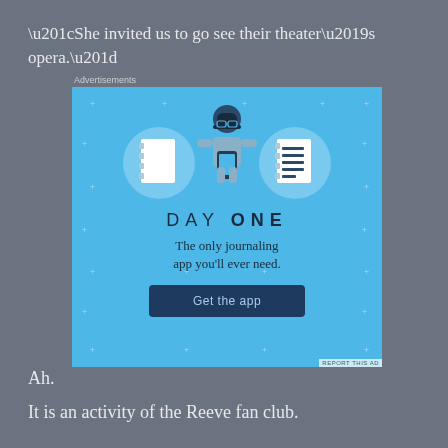“She invited us to go see their theater’s opera.”
[Figure (screenshot): Advertisement for Day One journaling app. Blue background with illustration of a person holding a phone, flanked by two circular icons showing notebooks. Text reads: DAY ONE - The only journaling app you'll ever need. Button: Get the app.]
Ah.
It is an activity of the Reeve fan club.